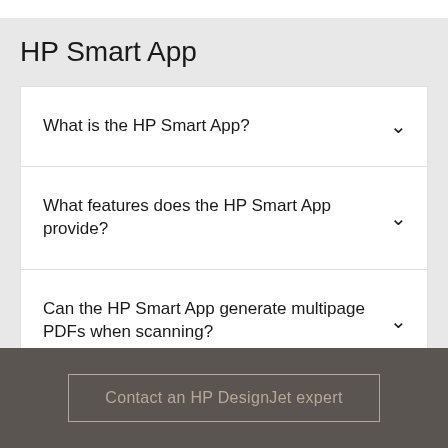HP Smart App
What is the HP Smart App?
What features does the HP Smart App provide?
Can the HP Smart App generate multipage PDFs when scanning?
Contact an HP DesignJet expert